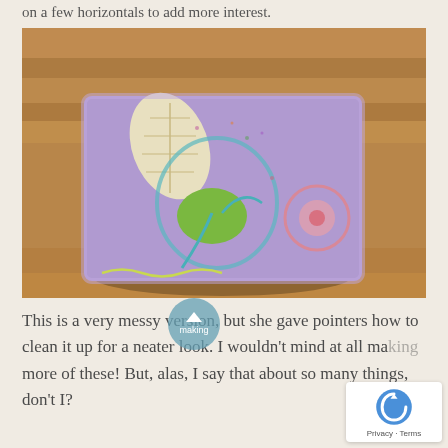on a few horizontals to add more interest.
[Figure (photo): A small handmade textile pouch or pincushion with mixed-media embroidery on a purple/lavender felted background, featuring stitched floral and leaf motifs in green, pink, and teal, placed on a wooden surface.]
This is a very messy version, but she gave pointers how to clean it up for a neater look. I wouldn't mind at all making more of these! But, alas, I say that about so many things, don't I?